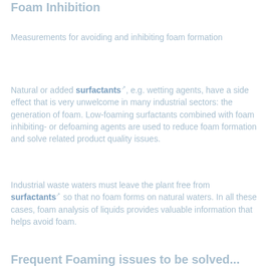Foam Inhibition
Measurements for avoiding and inhibiting foam formation
Natural or added surfactants, e.g. wetting agents, have a side effect that is very unwelcome in many industrial sectors: the generation of foam. Low-foaming surfactants combined with foam inhibiting- or defoaming agents are used to reduce foam formation and solve related product quality issues.
Industrial waste waters must leave the plant free from surfactants so that no foam forms on natural waters. In all these cases, foam analysis of liquids provides valuable information that helps avoid foam.
Frequent Foaming issues to be solved...